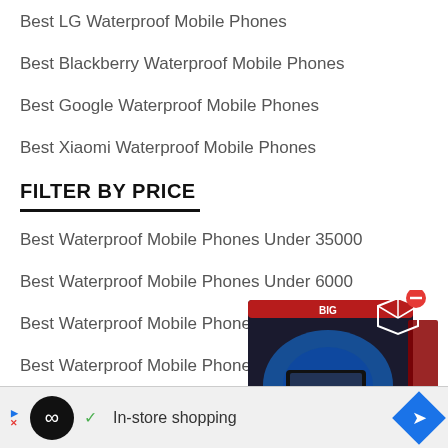Best LG Waterproof Mobile Phones
Best Blackberry Waterproof Mobile Phones
Best Google Waterproof Mobile Phones
Best Xiaomi Waterproof Mobile Phones
FILTER BY PRICE
Best Waterproof Mobile Phones Under 35000
Best Waterproof Mobile Phones Under 60000
Best Waterproof Mobile Phones Under 40000
Best Waterproof Mobile Phones Under 30000
Best Wa…
[Figure (screenshot): Ad overlay showing a product box (gaming/VR headset box) with price ₹1,33,889.99, a red minus button, a white cube icon, a close X button, and an advertisement bar at the bottom with an infinity logo icon, a checkmark, 'In-store shopping' text, and a blue navigation arrow icon.]